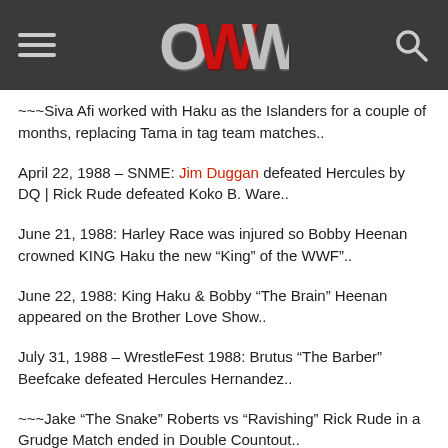OWW (Online World of Wrestling) site header with hamburger menu, OWW logo, and search icon
~~~Siva Afi worked with Haku as the Islanders for a couple of months, replacing Tama in tag team matches..
April 22, 1988 – SNME: Jim Duggan defeated Hercules by DQ | Rick Rude defeated Koko B. Ware..
June 21, 1988: Harley Race was injured so Bobby Heenan crowned KING Haku the new “King” of the WWF”..
June 22, 1988: King Haku & Bobby “The Brain” Heenan appeared on the Brother Love Show..
July 31, 1988 – WrestleFest 1988: Brutus “The Barber” Beefcake defeated Hercules Hernandez..
~~~Jake “The Snake” Roberts vs “Ravishing” Rick Rude in a Grudge Match ended in Double Countout..
~~~The Ultimate Warrior defeated Bobby “The Brain” Heenan in a “Loser Wears a Weasel Suit” match..